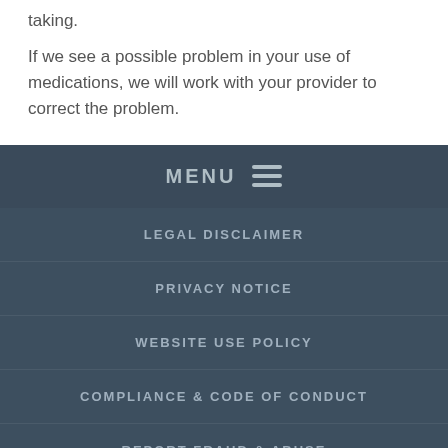taking.
If we see a possible problem in your use of medications, we will work with your provider to correct the problem.
MENU
LEGAL DISCLAIMER
PRIVACY NOTICE
WEBSITE USE POLICY
COMPLIANCE & CODE OF CONDUCT
REPORT FRAUD & ABUSE
APPEALS AND GRIEVANCES